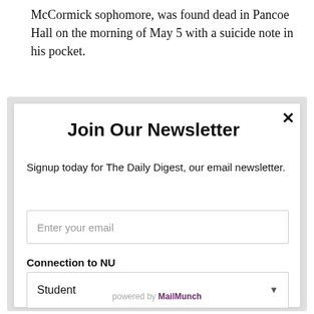McCormick sophomore, was found dead in Pancoe Hall on the morning of May 5 with a suicide note in his pocket.
Join Our Newsletter
Signup today for The Daily Digest, our email newsletter.
Enter your email
Connection to NU
Student
Subscribe
powered by MailMunch